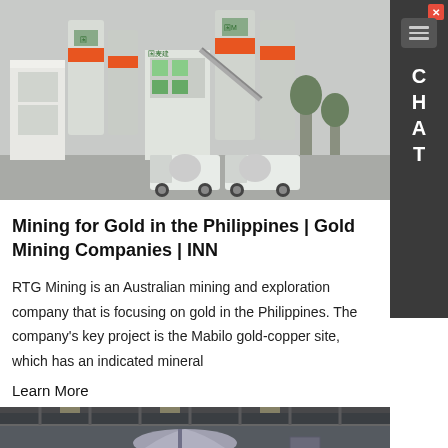[Figure (photo): Industrial concrete batching/mixing plant with silos, conveyor systems, green and white structures with orange accents, and white concrete mixer trucks parked in front]
Mining for Gold in the Philippines | Gold Mining Companies | INN
RTG Mining is an Australian mining and exploration company that is focusing on gold in the Philippines. The company's key project is the Mabilo gold-copper site, which has an indicated mineral
Learn More
[Figure (photo): Interior of an industrial facility showing large metal tanks and storage silos, with a chat overlay bubble reading: Hello, glad to talk with you! Which equipment you are looking for? Kindly leave your name and email add, we will reply you with detail.]